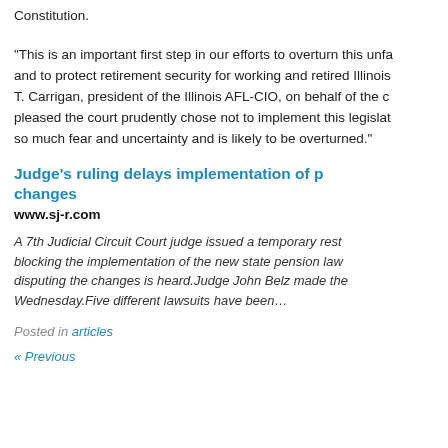Constitution.
“This is an important first step in our efforts to overturn this unfa… and to protect retirement security for working and retired Illinois… T. Carrigan, president of the Illinois AFL-CIO, on behalf of the c… pleased the court prudently chose not to implement this legislat… so much fear and uncertainty and is likely to be overturned.”
Judge’s ruling delays implementation of p… changes
www.sj-r.com
A 7th Judicial Circuit Court judge issued a temporary rest… blocking the implementation of the new state pension law… disputing the changes is heard.Judge John Belz made the… Wednesday.Five different lawsuits have been…
Posted in articles
« Previous